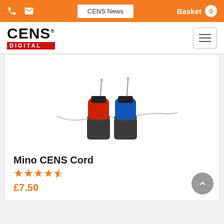CENS News | Basket 0
[Figure (logo): CENS Digital logo with CENS in large bold text and DIGITAL in red banner below]
[Figure (photo): Two small electronic hearing protection devices - one red and one blue - with cords attached, sitting on dark cylindrical bases]
Mino CENS Cord
★★★★½ (4.5 star rating)
£7.50